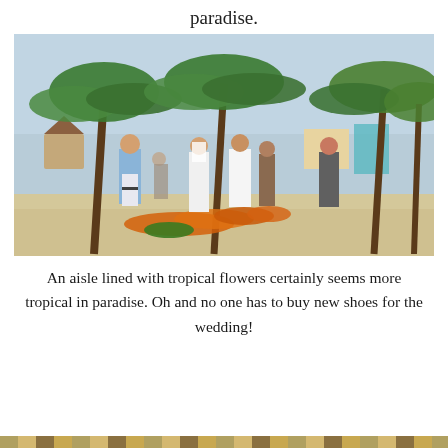paradise.
[Figure (photo): Outdoor beach wedding ceremony with palm trees. A bride in a white dress and groom in white shirt stand facing each other. An officiant in a floral dress reads from a book. A man in a light blue shirt stands to the left. An orange tropical flower aisle runs along the sand. People stand in background.]
An aisle lined with tropical flowers certainly seems more tropical in paradise. Oh and no one has to buy new shoes for the wedding!